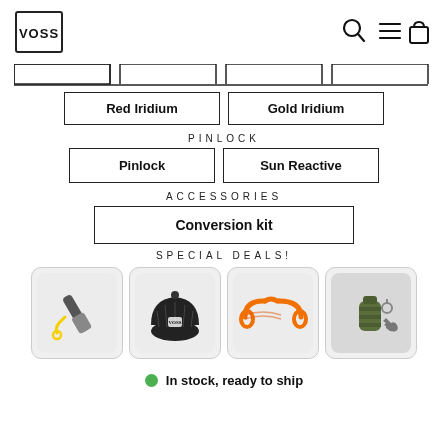[Figure (logo): VOSS brand logo - shield shape with VOSS text in black]
[Figure (screenshot): Navigation icons: search magnifier, hamburger menu, and shopping bag]
[Figure (other): Four tab selectors in a row with top and side borders, no bottom border]
Red Iridium
Gold Iridium
PINLOCK
Pinlock
Sun Reactive
ACCESSORIES
Conversion kit
SPECIAL DEALS!
[Figure (photo): Small tool/pen with yellow lanyard on white background]
[Figure (photo): Black beanie hat with VOSS logo patch]
[Figure (photo): Orange braided paracord wrist strap]
[Figure (photo): Military green grenade-shaped canister with keys on gray fabric]
In stock, ready to ship